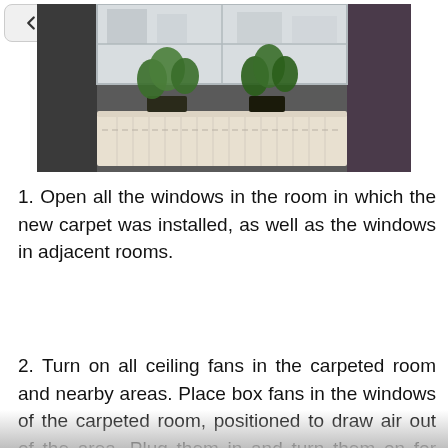[Figure (photo): Photo of a white radiator below a window, with green potted plants on top, set against a grey/brick wall background. Part of a room interior.]
Open all the windows in the room in which the new carpet was installed, as well as the windows in adjacent rooms.
Turn on all ceiling fans in the carpeted room and nearby areas. Place box fans in the windows of the carpeted room, positioned to draw air out of the area. Plug them in and turn them on for one